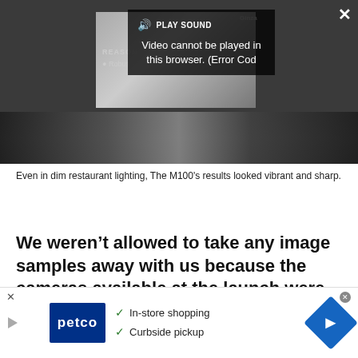[Figure (screenshot): Video player with dark overlay showing error popup 'Video cannot be played in this browser. (Error Cod' with PLAY SOUND button, close X button, expand arrows, and a thumbnail of a camera. Below the popup is a dark strip showing a hand holding a camera device.]
Even in dim restaurant lighting, The M100's results looked vibrant and sharp.
We weren't allowed to take any image samples away with us because the cameras available at the launch were pre-production models, but if past experience
[Figure (screenshot): Petco advertisement banner with Petco logo, checkmarks for 'In-store shopping' and 'Curbside pickup', a navigation/map diamond icon, and a play button arrow on the left.]